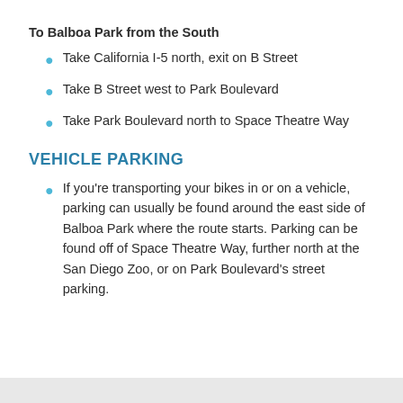To Balboa Park from the South
Take California I-5 north, exit on B Street
Take B Street west to Park Boulevard
Take Park Boulevard north to Space Theatre Way
VEHICLE PARKING
If you're transporting your bikes in or on a vehicle, parking can usually be found around the east side of Balboa Park where the route starts. Parking can be found off of Space Theatre Way, further north at the San Diego Zoo, or on Park Boulevard's street parking.